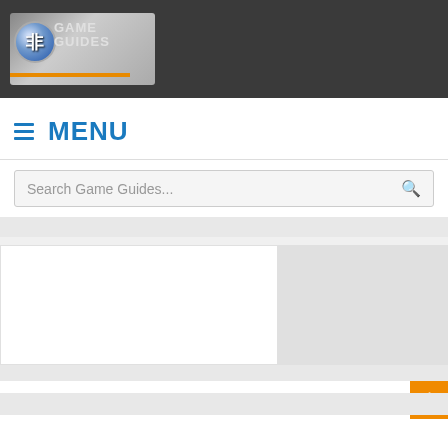[Figure (logo): Game guides website logo with globe icon and site name text, with orange underline bar]
MENU
Search Game Guides...
[Figure (other): Advertisement/content placeholder area with white left box and gray right box]
Home > Medal Masters Guides > Medal Masters: Quick Walkthrough, Tips, and Strategy Guide